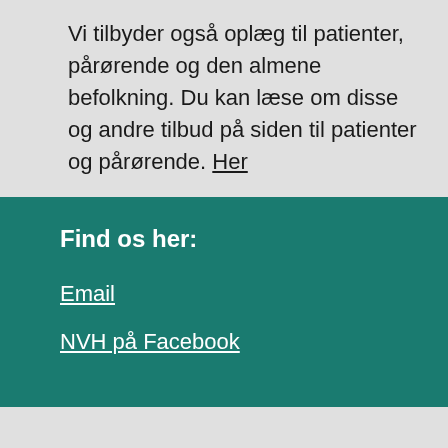Vi tilbyder også oplæg til patienter, pårørende og den almene befolkning. Du kan læse om disse og andre tilbud på siden til patienter og pårørende. Her
Find os her:
Email
NVH på Facebook